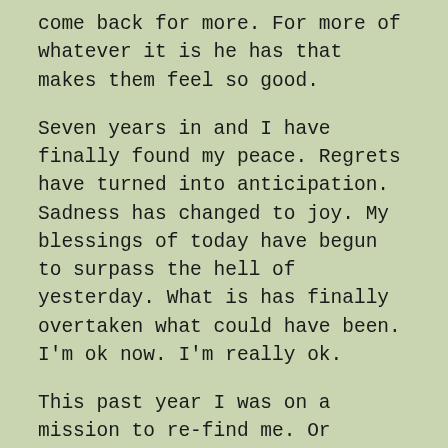come back for more. For more of whatever it is he has that makes them feel so good.
Seven years in and I have finally found my peace. Regrets have turned into anticipation. Sadness has changed to joy. My blessings of today have begun to surpass the hell of yesterday. What is has finally overtaken what could have been. I'm ok now. I'm really ok.
This past year I was on a mission to re-find me. Or perhaps re-invent me. And I have. A me I like a lot better than the me 7 years ago. A me who has learned so many things about life and love; hope and faith; beauty and ugliness; honesty; compassion...the real kind not just